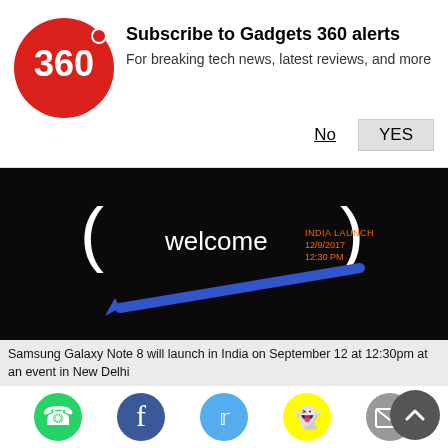[Figure (infographic): Gadgets 360 subscription notification bar with red circular logo showing '360', bold text 'Subscribe to Gadgets 360 alerts', subtext 'For breaking tech news, latest reviews, and more', and buttons 'No' and 'YES']
[Figure (screenshot): Dark/black hero image showing a Samsung Galaxy Note 8 teaser with text 'welcome' and a blue stylus pen diagonal, with text overlay 'INDIA LAUNCH | 12/9/2017 | 12:30 PM']
Samsung Galaxy Note 8 will launch in India on September 12 at 12:30pm at an event in New Delhi
[Figure (infographic): Row of 5 social media share icons: WhatsApp (green), Facebook (dark blue), Twitter (light blue), Snapchat (yellow), Email (grey)]
Samsung has sent out media invites for the Galaxy Note 8 India launch for September 12, the same day Apple is expected to host the global unveiling of its next flagship, iPhone 8. The Samsung Galaxy Note 8 India launch will be held in New Delhi at 12:30pm IST. While the Samsung invite does not explicitly state which